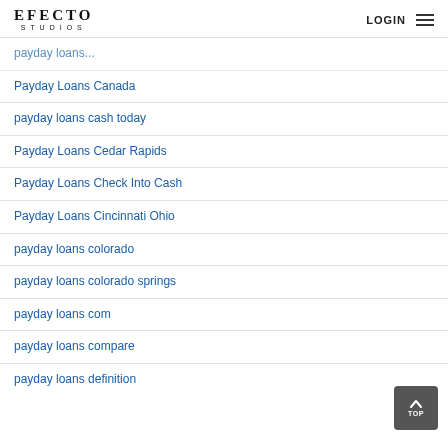EFECTO STUDIOS | LOGIN
Payday Loans Canada
payday loans cash today
Payday Loans Cedar Rapids
Payday Loans Check Into Cash
Payday Loans Cincinnati Ohio
payday loans colorado
payday loans colorado springs
payday loans com
payday loans compare
payday loans definition